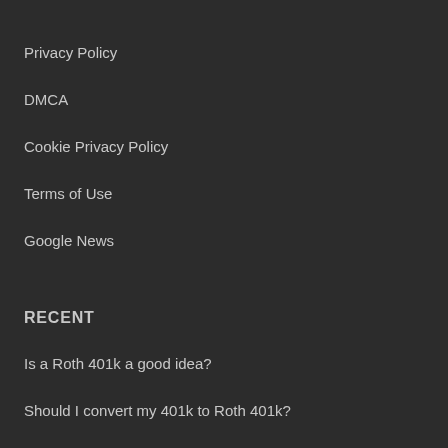Privacy Policy
DMCA
Cookie Privacy Policy
Terms of Use
Google News
RECENT
Is a Roth 401k a good idea?
Should I convert my 401k to Roth 401k?
Is 40 too old to start a Roth IRA?
How much does a Roth IRA grow in 10 years?